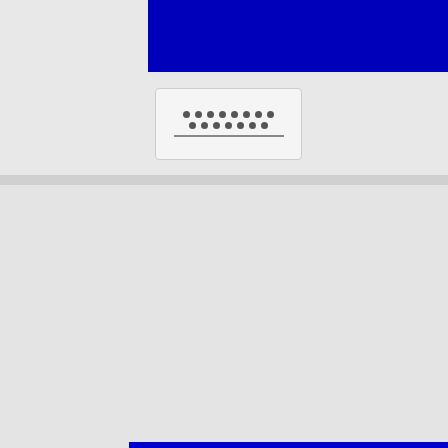[Figure (screenshot): Top portion of a BIOS/computer screen showing a dark blue interface area, partially cropped]
[Figure (screenshot): Keyboard or input widget showing a grid of dots and a line, representing physical keyboard or input device]
[Figure (screenshot): BIOS setup utility screen showing 'Aptio' title bar, 'Advanced Po' (Advanced Power) menu tab, and a content panel with 'Advanced Power Man' (Advanced Power Management) menu item, a dashed separator line, and 'Power Technology' item partially visible]